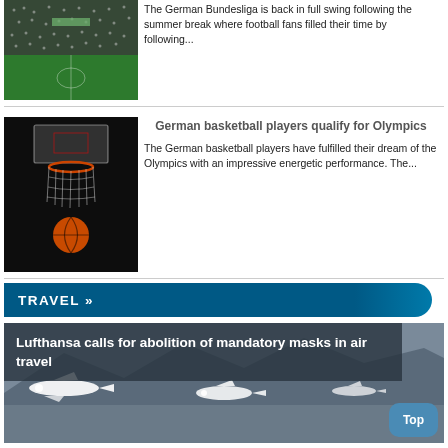[Figure (photo): Football stadium with crowd during a Bundesliga match]
The German Bundesliga is back in full swing following the summer break where football fans filled their time by following...
[Figure (photo): Basketball hoop with ball below it in a darkened arena]
German basketball players qualify for Olympics
The German basketball players have fulfilled their dream of the Olympics with an impressive energetic performance. The...
TRAVEL »
[Figure (photo): Lufthansa aircraft on airport tarmac]
Lufthansa calls for abolition of mandatory masks in air travel